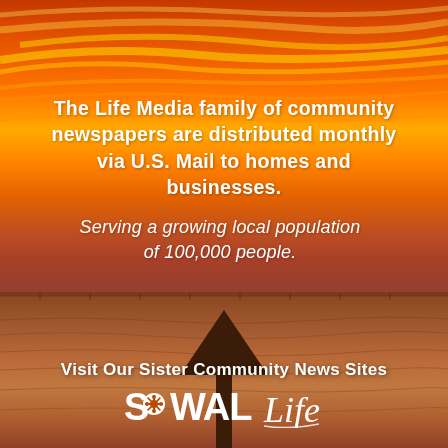[Figure (photo): Sunset/sunrise photo showing an orange and red sky with yellow cloud streaks, a long bridge or dock extending across the horizon, shallow water or tidal flat in the foreground, and a single dark post or marker in the center foreground. The image has warm orange and amber tones throughout.]
The Life Media family of community newspapers are distributed monthly via U.S. Mail to homes and businesses.
Serving a growing local population of 100,000 people.
Visit Our Sister Community News Sites
[Figure (logo): SoWAL Life logo in white text. 'S' followed by a circular flower/snowflake emblem, then 'WAL' in bold sans-serif, followed by 'Life' in italic script font.]